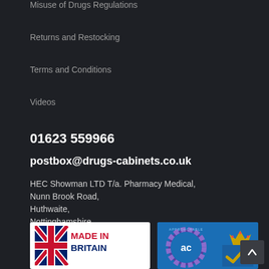Misuse of Drugs Regulations
Returns and Restocking
Terms and Conditions
Videos
01623 559966
postbox@drugs-cabinets.co.uk
HEC Showman LTD T/a. Pharmacy Medical,
Nunn Brook Road,
Huthwaite,
Nottinghamshire,
NG17 2HU,
UK
[Figure (logo): Made in Britain logo with Union Jack flag graphic and text MADE IN BRITAIN in red and dark blue]
[Figure (logo): Approachable badge logo with gear/circle design in blue and purple, AC letters in centre, crown symbol]